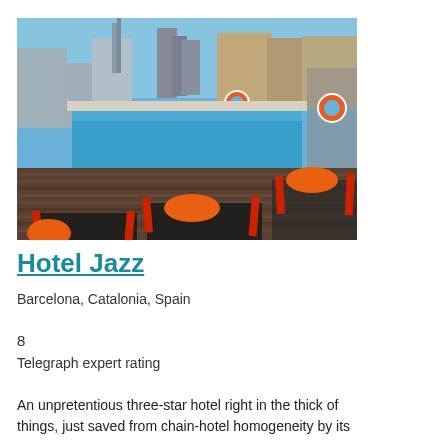[Figure (photo): Rooftop pool area of Hotel Jazz in Barcelona. Blue swimming pool in the upper portion, with a wooden deck below featuring orange rolled towels on sun loungers with red frames. City buildings visible in the background under a clear blue sky. Life preservers visible on a fence.]
Hotel Jazz
Barcelona, Catalonia, Spain
8
Telegraph expert rating
An unpretentious three-star hotel right in the thick of things, just saved from chain-hotel homogeneity by its